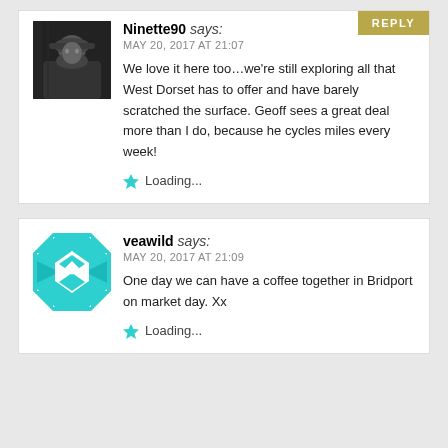REPLY
[Figure (photo): Black and white photo of a person wearing a hat]
Ninette90 says:
MAY 20, 2017 AT 21:07
We love it here too…we're still exploring all that West Dorset has to offer and have barely scratched the surface. Geoff sees a great deal more than I do, because he cycles miles every week!
Loading...
[Figure (illustration): Teal and white geometric diamond pattern square avatar]
veawild says:
MAY 20, 2017 AT 21:09
One day we can have a coffee together in Bridport on market day. Xx
Loading...